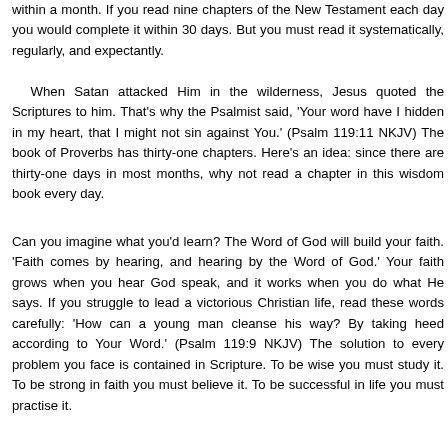within a month. If you read nine chapters of the New Testament each day you would complete it within 30 days. But you must read it systematically, regularly, and expectantly.
When Satan attacked Him in the wilderness, Jesus quoted the Scriptures to him. That's why the Psalmist said, 'Your word have I hidden in my heart, that I might not sin against You.' (Psalm 119:11 NKJV) The book of Proverbs has thirty-one chapters. Here's an idea: since there are thirty-one days in most months, why not read a chapter in this wisdom book every day.
Can you imagine what you'd learn? The Word of God will build your faith. 'Faith comes by hearing, and hearing by the Word of God.' Your faith grows when you hear God speak, and it works when you do what He says. If you struggle to lead a victorious Christian life, read these words carefully: 'How can a young man cleanse his way? By taking heed according to Your Word.' (Psalm 119:9 NKJV) The solution to every problem you face is contained in Scripture. To be wise you must study it. To be strong in faith you must believe it. To be successful in life you must practise it.